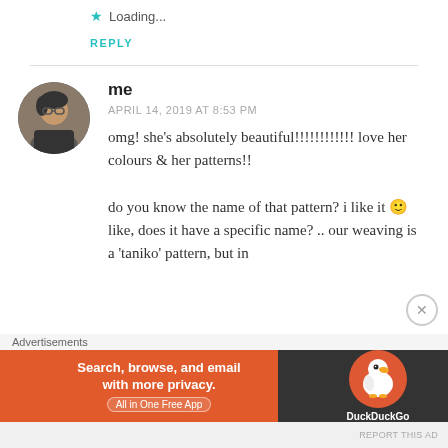★ Loading...
REPLY
me
APRIL 14, 2019 AT 8:53 PM
omg! she's absolutely beautiful!!!!!!!!!!!! love her colours & her patterns!!
do you know the name of that pattern? i like it 🙂 like, does it have a specific name? .. our weaving is a 'taniko' pattern, but in
Advertisements
[Figure (infographic): DuckDuckGo advertisement banner: 'Search, browse, and email with more privacy. All in One Free App' on orange background with DuckDuckGo logo on dark background]
REPORT THIS AD